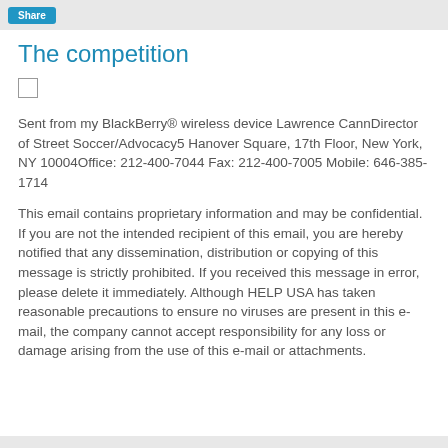Share
The competition
[Figure (other): Small checkbox/image placeholder]
Sent from my BlackBerry® wireless device Lawrence CannDirector of Street Soccer/Advocacy5 Hanover Square, 17th Floor, New York, NY 10004Office: 212-400-7044 Fax: 212-400-7005 Mobile: 646-385-1714
This email contains proprietary information and may be confidential. If you are not the intended recipient of this email, you are hereby notified that any dissemination, distribution or copying of this message is strictly prohibited. If you received this message in error, please delete it immediately. Although HELP USA has taken reasonable precautions to ensure no viruses are present in this e-mail, the company cannot accept responsibility for any loss or damage arising from the use of this e-mail or attachments.